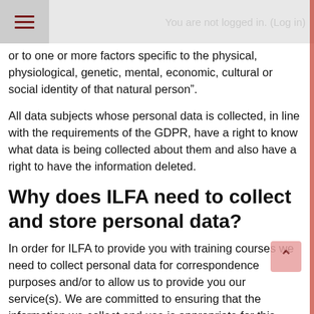You are not logged in. (Log in)
or to one or more factors specific to the physical, physiological, genetic, mental, economic, cultural or social identity of that natural person".
All data subjects whose personal data is collected, in line with the requirements of the GDPR, have a right to know what data is being collected about them and also have a right to have the information deleted.
Why does ILFA need to collect and store personal data?
In order for ILFA to provide you with training courses we need to collect personal data for correspondence purposes and/or to allow us to provide you our service(s). We are committed to ensuring that the information we collect and use is appropriate for this purpose. ILFA is a company which values its users' data protection and privacy rights and we have no interest in collecting